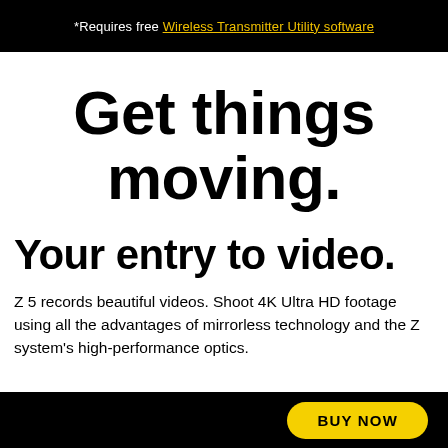*Requires free Wireless Transmitter Utility software
Get things moving.
Your entry to video.
Z 5 records beautiful videos. Shoot 4K Ultra HD footage using all the advantages of mirrorless technology and the Z system’s high-performance optics.
BUY NOW